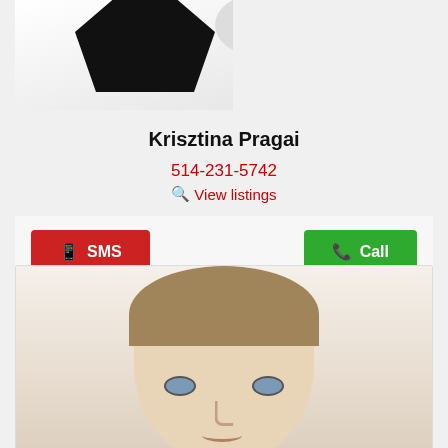[Figure (photo): Partial photo of a person in white shirt with black soccer ball element visible at top]
Krisztina Pragai
514-231-5742
View listings
SMS
Call
[Figure (photo): Portrait photo of a young blond man with short hair looking at camera, white background]